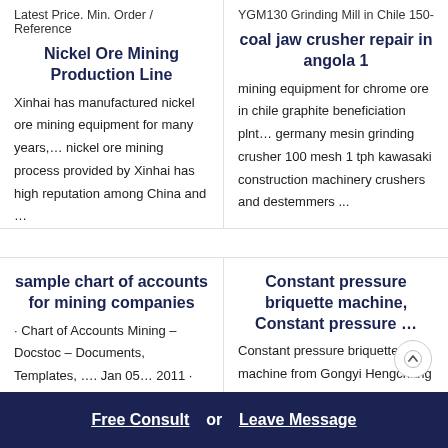Latest Price. Min. Order / Reference
YGM130 Grinding Mill in Chile 150-
Nickel Ore Mining Production Line
coal jaw crusher repair in angola 1
Xinhai has manufactured nickel ore mining equipment for many years,… nickel ore mining process provided by Xinhai has high reputation among China and …
mining equipment for chrome ore in chile graphite beneficiation plnt… germany mesin grinding crusher 100 mesh 1 tph kawasaki construction machinery crushers and destemmers ...
sample chart of accounts for mining companies
Constant pressure briquette machine, Constant pressure …
· Chart of Accounts Mining – Docstoc – Documents, Templates, …. Jan 05… 2011 · Chart of Accounts Mining document sample Register ….
Constant pressure briquette machine from Gongyi Hengchang Metallurgi… Building Material Equipments Plan Search High Quality Constant pressure
Free Consult  or  Leave Message